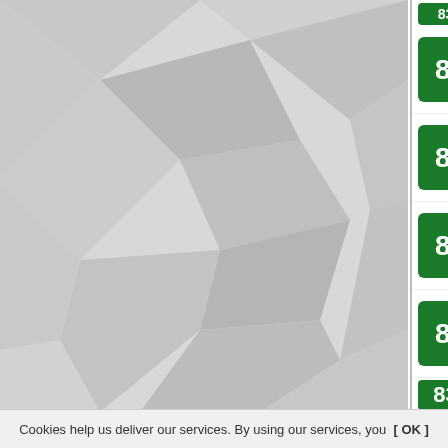[Figure (illustration): Grey decorative polygon background panel on the left side of the page]
83 Eva Hillered (Pop Rock, S...
83 Tycoon (Pop Rock, Vocal...
83 The Ronettes (Pop Rock,...
83 Björn Skifs (Pop Rock, V...
83 Gerry Rafferty (Pop Rock...
83 Antonio Flores (Pop Roc...
83 Roberto Jacketti & The S...
83 Jan Rot (Pop Rock, Balla...
83 Sonny & Cher (Pop Rock...
83 Bifrost (Pop Rock, Folk R...
Cookies help us deliver our services. By using our services, you [ OK ]